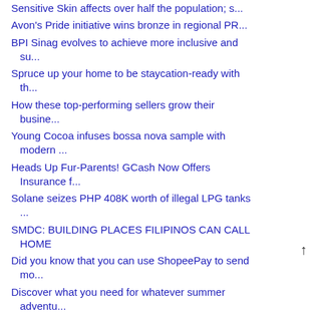Sensitive Skin affects over half the population; s...
Avon's Pride initiative wins bronze in regional PR...
BPI Sinag evolves to achieve more inclusive and su...
Spruce up your home to be staycation-ready with th...
How these top-performing sellers grow their busine...
Young Cocoa infuses bossa nova sample with modern ...
Heads Up Fur-Parents! GCash Now Offers Insurance f...
Solane seizes PHP 408K worth of illegal LPG tanks ...
SMDC: BUILDING PLACES FILIPINOS CAN CALL HOME
Did you know that you can use ShopeePay to send mo...
Discover what you need for whatever summer adventu...
KYUKYU RAMEN 99 AT SM CITY SAN JOSE DEL MONTE